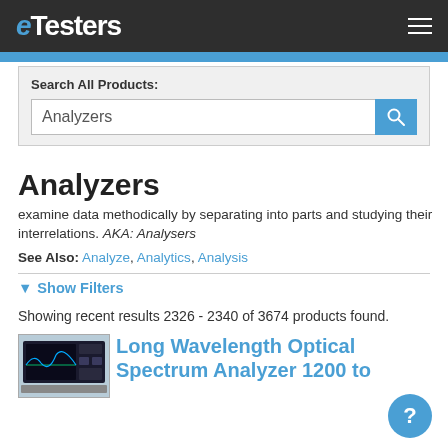eTesters
Search All Products: Analyzers
Analyzers
examine data methodically by separating into parts and studying their interrelations. AKA: Analysers
See Also: Analyze, Analytics, Analysis
▼ Show Filters
Showing recent results 2326 - 2340 of 3674 products found.
[Figure (photo): Photo of a Long Wavelength Optical Spectrum Analyzer instrument]
Long Wavelength Optical Spectrum Analyzer 1200 to